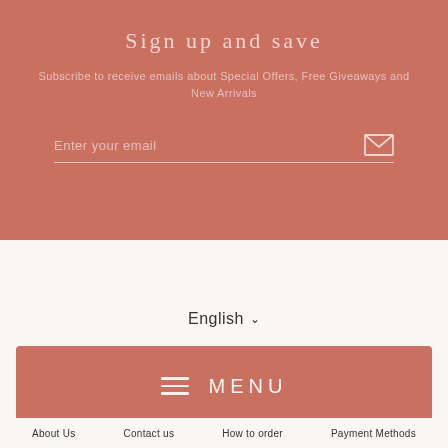Sign up and save
Subscribe to receive emails about Special Offers, Free Giveaways and New Arrivals
Enter your email
English
MENU
About Us   Contact us   How to order   Payment Methods